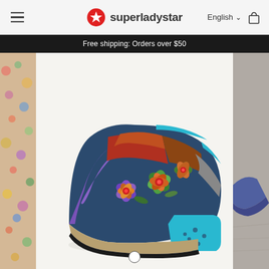superladystar — English (hamburger menu, cart icon)
Free shipping: Orders over $50
[Figure (photo): Colorful women's leather shoes with floral embellishments. The shoes feature a patchwork design in navy blue, red, orange, and turquoise/blue colors with 3D leather flowers in purple, green, orange, and red on the vamp. Block heel with blue accent and decorative holes. Displayed on a white background in the center panel, flanked by a floral-patterned strip on the left and a partial second shoe image on the right.]